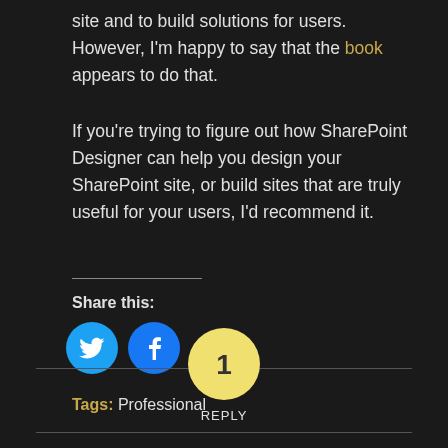site and to build solutions for users. However, I'm happy to say that the book appears to do that.
If you're trying to figure out how SharePoint Designer can help you design your SharePoint site, or build sites that are truly useful for your users, I'd recommend it.
Share this:
[Figure (other): Twitter and Facebook share buttons (circular blue icons with bird and f logos)]
Tags: Professional
[Figure (other): Yellow circle with number 1 and REPLY label below, centered on a horizontal separator line]